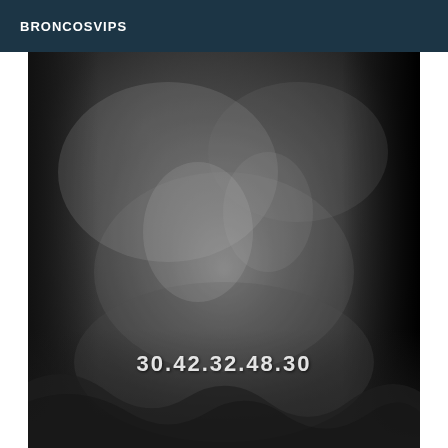BRONCOSVIPS
[Figure (photo): Black and white intimate photograph of two people, with a phone number overlaid in white text at the bottom center reading 30.42.32.48.30]
30.42.32.48.30